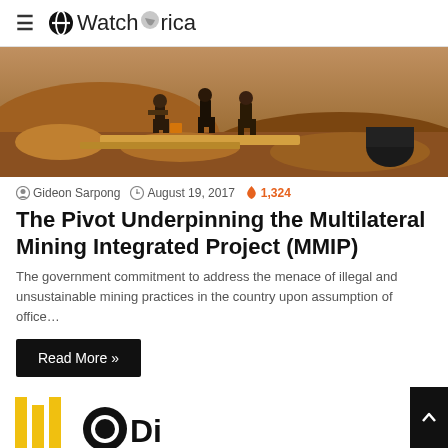WatchAfrica
[Figure (photo): Workers at an open-pit mining site with orange-brown earth and rubble, several people carrying equipment]
Gideon Sarpong  August 19, 2017  1,324
The Pivot Underpinning the Multilateral Mining Integrated Project (MMIP)
The government commitment to address the menace of illegal and unsustainable mining practices in the country upon assumption of office…
Read More »
[Figure (logo): Partially visible logo at bottom of page with yellow and black elements and partial text]